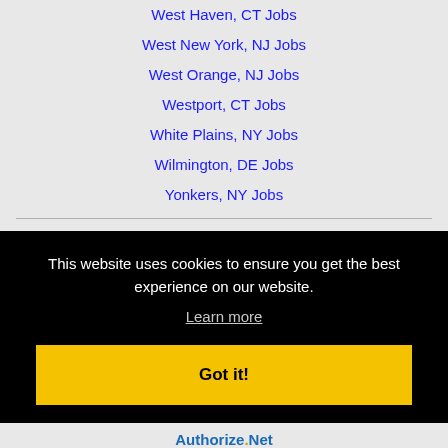West Haven, CT Jobs
West New York, NJ Jobs
West Orange, NJ Jobs
Westport, CT Jobs
White Plains, NY Jobs
Wilmington, DE Jobs
Yonkers, NY Jobs
This website uses cookies to ensure you get the best experience on our website.
Learn more
Got it!
[Figure (logo): Authorize.Net logo]